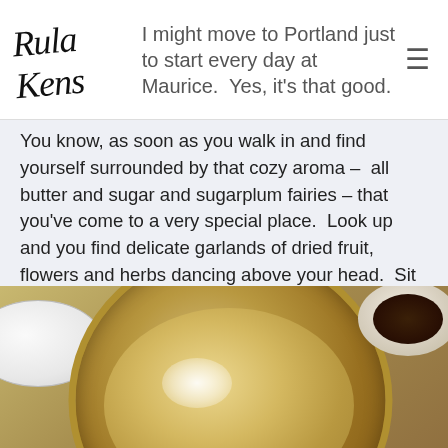I might move to Portland just to start every day at Maurice.  Yes, it's that good.
You know, as soon as you walk in and find yourself surrounded by that cozy aroma –  all butter and sugar and sugarplum fairies – that you've come to a very special place.  Look up and you find delicate garlands of dried fruit, flowers and herbs dancing above your head.  Sit down- in the window seat if possible- and prepare to be deliriously happy.
[Figure (photo): Close-up photo of a golden-brown dish (likely a Dutch baby pancake or similar baked dish) in a round pan, dusted with powdered sugar. A white plate is visible on the left edge and a dark sauce dish is visible at top right.]